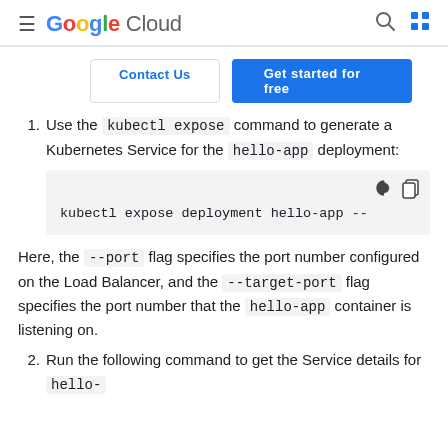Google Cloud
Contact Us | Get started for free
Use the kubectl expose command to generate a Kubernetes Service for the hello-app deployment:
[Figure (screenshot): Code block showing: kubectl expose deployment hello-app --]
Here, the --port flag specifies the port number configured on the Load Balancer, and the --target-port flag specifies the port number that the hello-app container is listening on.
Run the following command to get the Service details for hello-app service: